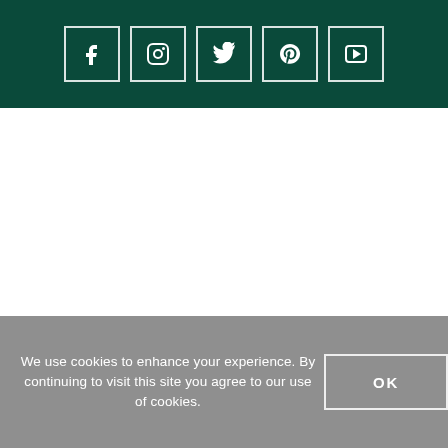[Figure (other): Dark teal header bar with five social media icons in white square outlines: Facebook (f), Instagram (camera), Twitter (bird), Pinterest (p), YouTube (play button)]
We use cookies to enhance your experience. By continuing to visit this site you agree to our use of cookies.